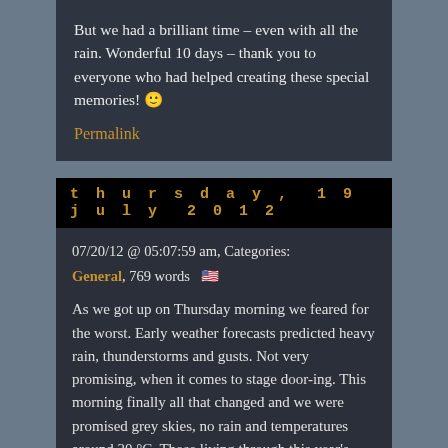But we had a brilliant time – even with all the rain. Wonderful 10 days – thank you to everyone who had helped creating these special memories! 🙂
Permalink
thursday, 19 july 2012
07/20/12 @ 05:07:59 am, Categories: General, 769 words 🇺🇸
As we got up on Thursday morning we feared for the worst. Early weather forecasts predicted heavy rain, thunderstorms and gusts. Not very promising, when it comes to stage door-ing. This morning finally all that changed and we were promised grey skies, no rain and temperatures around 20 °C. Those living through this year's British summer know that it won't get much better (well it will, once we leave the country, but let's not go there). So, the weather should be nearly perfect. Warm-ish, dry and so we got